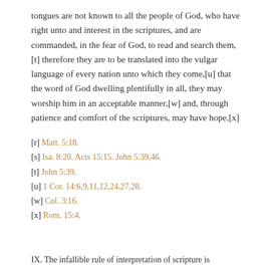tongues are not known to all the people of God, who have right unto and interest in the scriptures, and are commanded, in the fear of God, to read and search them,[t] therefore they are to be translated into the vulgar language of every nation unto which they come,[u] that the word of God dwelling plentifully in all, they may worship him in an acceptable manner,[w] and, through patience and comfort of the scriptures, may have hope.[x]
[r] Matt. 5:18.
[s] Isa. 8:20. Acts 15:15. John 5:39,46.
[t] John 5:39.
[u] 1 Cor. 14:6,9,11,12,24,27,28.
[w] Col. 3:16.
[x] Rom. 15:4.
IX. The infallible rule of interpretation of scripture...